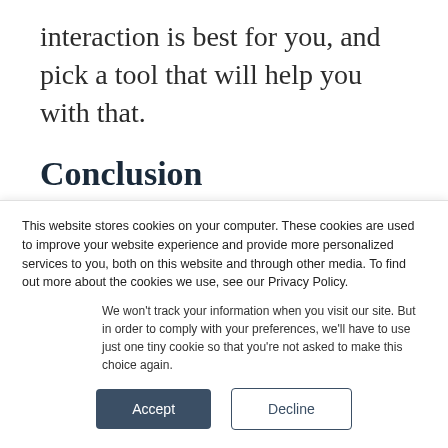interaction is best for you, and pick a tool that will help you with that.
Conclusion
Webinars and virtual conferences are both virtual interactions that can be essential to
This website stores cookies on your computer. These cookies are used to improve your website experience and provide more personalized services to you, both on this website and through other media. To find out more about the cookies we use, see our Privacy Policy.
We won't track your information when you visit our site. But in order to comply with your preferences, we'll have to use just one tiny cookie so that you're not asked to make this choice again.